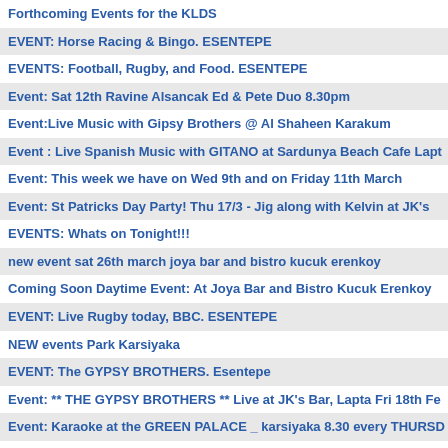Forthcoming Events for the KLDS
EVENT: Horse Racing & Bingo. ESENTEPE
EVENTS: Football, Rugby, and Food. ESENTEPE
Event: Sat 12th Ravine Alsancak Ed & Pete Duo 8.30pm
Event:Live Music with Gipsy Brothers @ Al Shaheen Karakum
Event : Live Spanish Music with GITANO at Sardunya Beach Cafe Lapt...
Event: This week we have on Wed 9th and on Friday 11th March
Event: St Patricks Day Party! Thu 17/3 - Jig along with Kelvin at JK's
EVENTS: Whats on Tonight!!!
new event sat 26th march joya bar and bistro kucuk erenkoy
Coming Soon Daytime Event: At Joya Bar and Bistro Kucuk Erenkoy
EVENT: Live Rugby today, BBC. ESENTEPE
NEW events Park Karsiyaka
EVENT: The GYPSY BROTHERS. Esentepe
Event: ** THE GYPSY BROTHERS ** Live at JK's Bar, Lapta Fri 18th Fe...
Event: Karaoke at the GREEN PALACE _ karsiyaka 8.30 every THURSD...
EVENTS: What a WEEK For ................
Event:Valentine's Day at Sardunya Beach Cafe Lapta on 14 February 2...
Damp prevention in unoccupied properties HOT